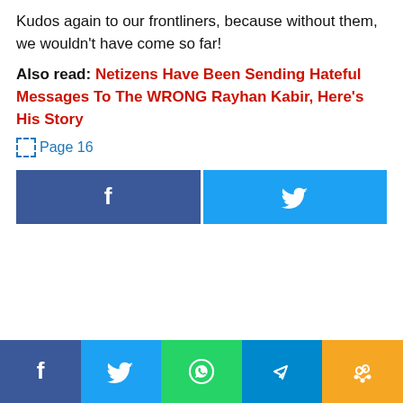Kudos again to our frontliners, because without them, we wouldn't have come so far!
Also read: Netizens Have Been Sending Hateful Messages To The WRONG Rayhan Kabir, Here's His Story
[Figure (other): Broken image placeholder with text 'Page 16']
[Figure (infographic): Social share buttons row: Facebook (blue/indigo) and Twitter (light blue) large buttons]
[Figure (infographic): Bottom social share bar with five icons: Facebook, Twitter, WhatsApp, Telegram, Copy-link]